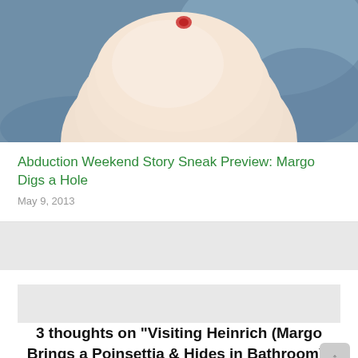[Figure (photo): Close-up photo of a person's wrist/arm with a small red mark or bite, resting against a blue fabric background. The wrist is pale and the arm fills most of the frame.]
Abduction Weekend Story Sneak Preview: Margo Digs a Hole
May 9, 2013
3 thoughts on “Visiting Heinrich (Margo Brings a Poinsettia & Hides in Bathroom)”